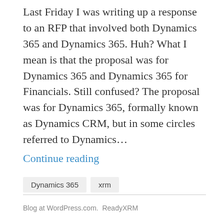Last Friday I was writing up a response to an RFP that involved both Dynamics 365 and Dynamics 365. Huh? What I mean is that the proposal was for Dynamics 365 and Dynamics 365 for Financials. Still confused? The proposal was for Dynamics 365, formally known as Dynamics CRM, but in some circles referred to Dynamics… Continue reading
Dynamics 365
xrm
Blog at WordPress.com.  ReadyXRM